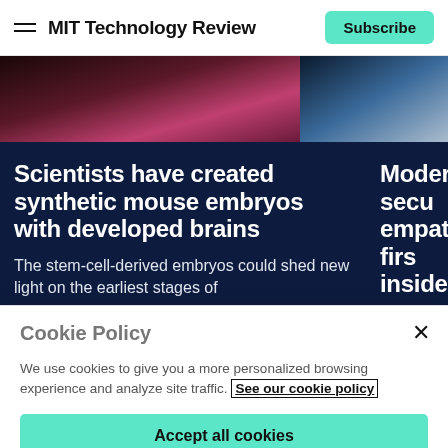MIT Technology Review
[Figure (photo): Two side-by-side article thumbnail images on dark navy background. Left image shows a dark, warm-toned close-up photo (red/pink hues). Right image shows a blurred blue bokeh photo.]
Scientists have created synthetic mouse embryos with developed brains
The stem-cell-derived embryos could shed new light on the earliest stages of
Modern secu empathy-firs insiders
While attention is from outside the c
Cookie Policy
We use cookies to give you a more personalized browsing experience and analyze site traffic. See our cookie policy
Accept all cookies
Cookies settings